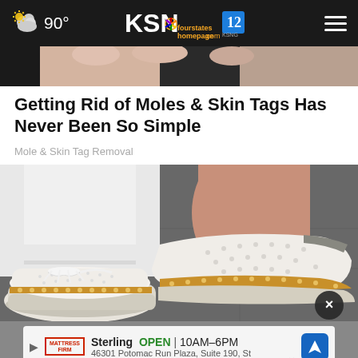KSN fourstates homepage .com 12 — 90°
[Figure (photo): Partial photo of a hand/fingers at the top of the page]
Getting Rid of Moles & Skin Tags Has Never Been So Simple
Mole & Skin Tag Removal
[Figure (photo): Close-up photo of a person wearing white jeans and white perforated slip-on shoes with gold/tan trim, standing on a gray sidewalk]
[Figure (infographic): Advertisement banner: Mattress Firm — Sterling OPEN 10AM–6PM, 46301 Potomac Run Plaza, Suite 190, St]